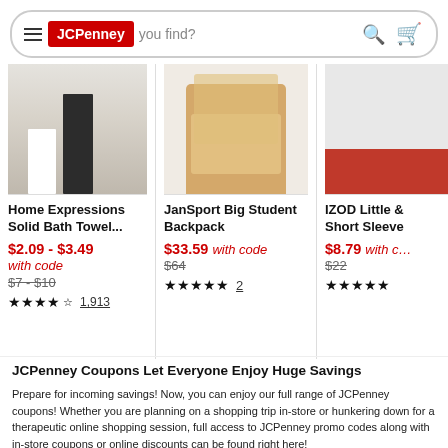[Figure (screenshot): JCPenney website search bar with hamburger menu icon, JCPenney red logo, search placeholder text 'What can we help you find?', search icon and cart icon]
[Figure (photo): Home Expressions Solid Bath Towel product image - dark towel on light background]
Home Expressions Solid Bath Towel...
$2.09 - $3.49 with code
$7 - $10 strikethrough original price
★★★★½ 1,913 reviews
[Figure (photo): JanSport Big Student Backpack product image - floral patterned backpack]
JanSport Big Student Backpack
$33.59 with code
$64 strikethrough original price
★★★★★ 2 reviews
[Figure (photo): IZOD Little & Short Sleeve product image - partial red garment visible]
IZOD Little & Short Sleeve
$8.79 with code
$22 strikethrough original price
★★★★★ reviews
JCPenney Coupons Let Everyone Enjoy Huge Savings
Prepare for incoming savings! Now, you can enjoy our full range of JCPenney coupons! Whether you are planning on a shopping trip in-store or hunkering down for a therapeutic online shopping session, full access to JCPenney promo codes along with in-store coupons or online discounts can be found right here!
A Streamlined Shopping Experience with Online Coupons